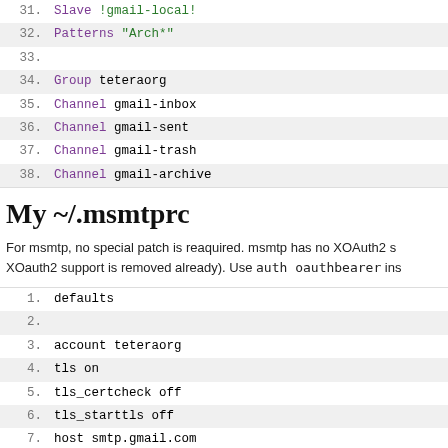[Figure (screenshot): Code block showing lines 31-38 of a configuration file with syntax highlighting. Keywords in purple and green.]
My ~/.msmtprc
For msmtp, no special patch is reaquired. msmtp has no XOAuth2 s... XOauth2 support is removed already). Use auth oauthbearer ins...
[Figure (screenshot): Code block showing lines 1-8 of ~/.msmtprc configuration file with monospace font and alternating row highlighting.]